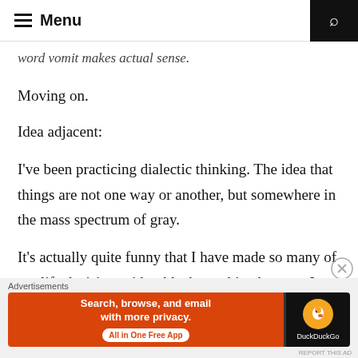Menu
word vomit makes actual sense.
Moving on.
Idea adjacent:
I've been practicing dialectic thinking. The idea that things are not one way or another, but somewhere in the mass spectrum of gray.
It's actually quite funny that I have made so many of my life decisions either black or white, because I surely don't see the world in that simple way.
[Figure (screenshot): DuckDuckGo advertisement banner: 'Search, browse, and email with more privacy. All in One Free App' on orange background with DuckDuckGo logo on dark background]